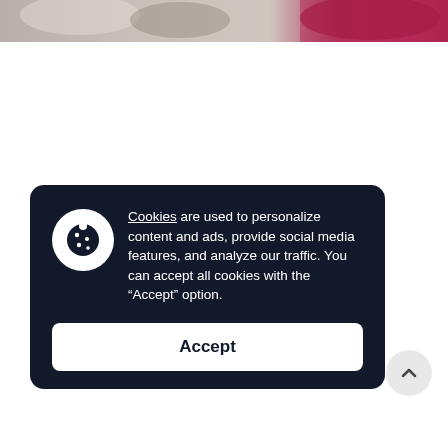[Figure (photo): Partial view of a photo strip at the top of the page showing blurred figures and a red/purple object.]
Cookies are used to personalize content and ads, provide social media features, and analyze our traffic. You can accept all cookies with the “Accept” option.
Accept